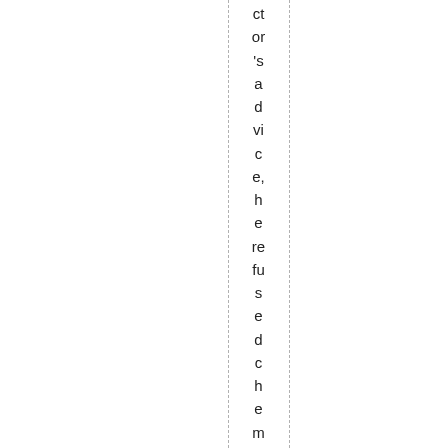ctor's advice, he refused chemotherapy as a tre